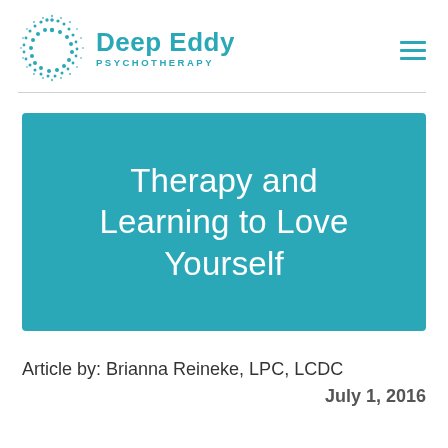Deep Eddy Psychotherapy
[Figure (logo): Deep Eddy Psychotherapy logo with teal circular dot pattern and teal text]
Therapy and Learning to Love Yourself
Article by: Brianna Reineke, LPC, LCDC
July 1, 2016